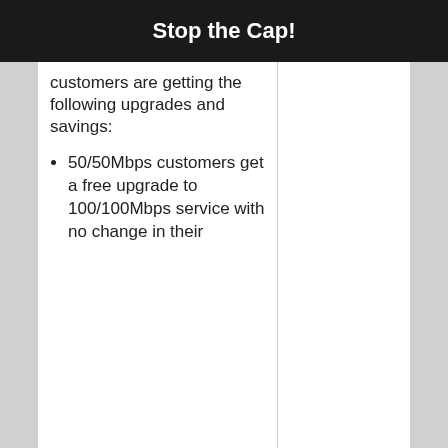Stop the Cap!
customers are getting the following upgrades and savings:
50/50Mbps customers get a free upgrade to 100/100Mbps service with no change in their